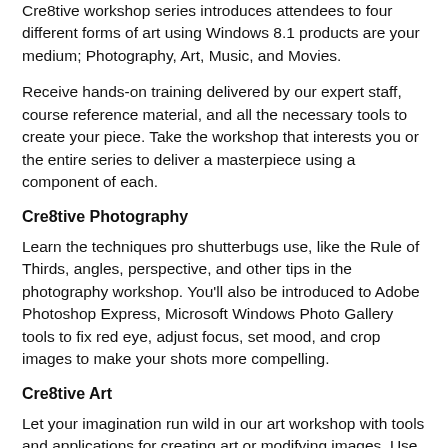Cre8tive workshop series introduces attendees to four different forms of art using Windows 8.1 products are your medium; Photography, Art, Music, and Movies.
Receive hands-on training delivered by our expert staff, course reference material, and all the necessary tools to create your piece. Take the workshop that interests you or the entire series to deliver a masterpiece using a component of each.
Cre8tive Photography
Learn the techniques pro shutterbugs use, like the Rule of Thirds, angles, perspective, and other tips in the photography workshop. You’ll also be introduced to Adobe Photoshop Express, Microsoft Windows Photo Gallery tools to fix red eye, adjust focus, set mood, and crop images to make your shots more compelling.
Cre8tive Art
Let your imagination run wild in our art workshop with tools and applications for creating art or modifying images. Use Microsoft Windows Photo Gallery, Adobe Photoshop…